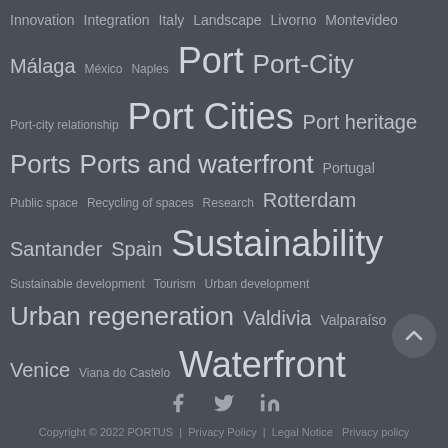Innovation Integration Italy Landscape Livorno Montevideo Málaga México Naples Port Port-City Port-city relationship Port Cities Port heritage Ports Ports and waterfront Portugal Public space Recycling of spaces Research Rotterdam Santander Spain Sustainability Sustainable development Tourism Urban development Urban regeneration Valdivia Valparaíso Venice Viana do Castelo Waterfront
Copyright © 2022 PORTUS | Privacy Policy | Legal Notice Privacy policy